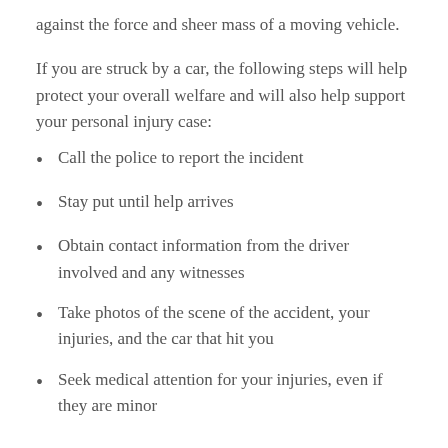against the force and sheer mass of a moving vehicle.
If you are struck by a car, the following steps will help protect your overall welfare and will also help support your personal injury case:
Call the police to report the incident
Stay put until help arrives
Obtain contact information from the driver involved and any witnesses
Take photos of the scene of the accident, your injuries, and the car that hit you
Seek medical attention for your injuries, even if they are minor